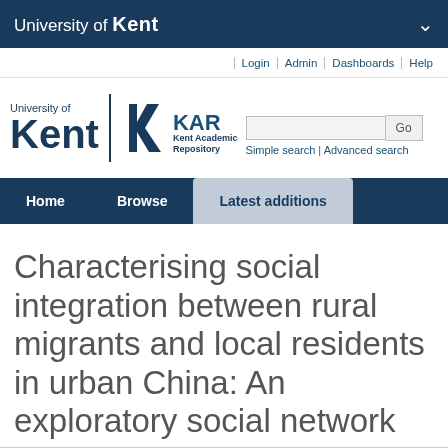University of Kent
[Figure (logo): University of Kent header bar with white text and chevron on dark blue background]
[Figure (logo): University of Kent and Kent Academic Repository (KAR) logo with search box]
[Figure (screenshot): Navigation bar with Home, Browse, Latest additions on dark blue background]
Characterising social integration between rural migrants and local residents in urban China: An exploratory social network analysis of care workers in Shanghai